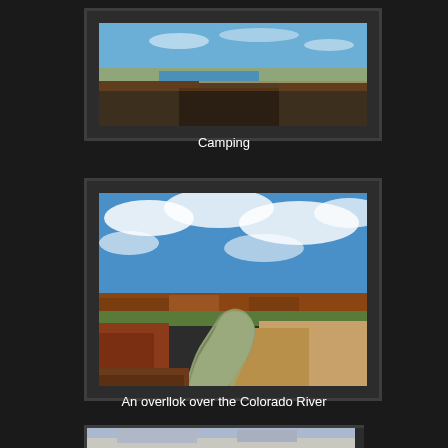[Figure (photo): Panoramic landscape photo showing a desert scene with a lake or reservoir, rocky terrain in the foreground and flat horizon with blue sky. Caption: Camping]
Camping
[Figure (photo): Wide landscape photo of an overlook showing the Colorado River winding through canyon terrain with red rock mesas and a dramatic blue sky with white clouds.]
An overllok over the Colorado River
[Figure (photo): Partially visible landscape photo at bottom of page, appears to show snowy or light-colored rocky terrain.]